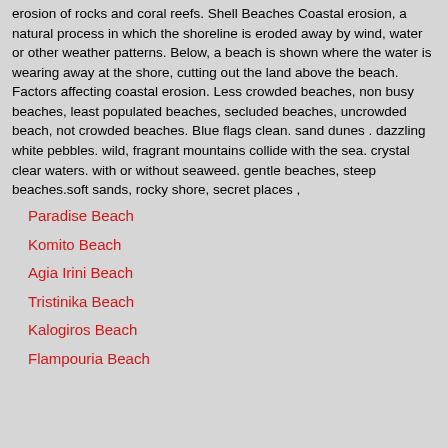erosion of rocks and coral reefs. Shell Beaches Coastal erosion, a natural process in which the shoreline is eroded away by wind, water or other weather patterns. Below, a beach is shown where the water is wearing away at the shore, cutting out the land above the beach. Factors affecting coastal erosion. Less crowded beaches, non busy beaches, least populated beaches, secluded beaches, uncrowded beach, not crowded beaches. Blue flags clean. sand dunes . dazzling white pebbles. wild, fragrant mountains collide with the sea. crystal clear waters. with or without seaweed. gentle beaches, steep beaches.soft sands, rocky shore, secret places ,
Paradise Beach
Komito Beach
Agia Irini Beach
Tristinika Beach
Kalogiros Beach
Flampouria Beach